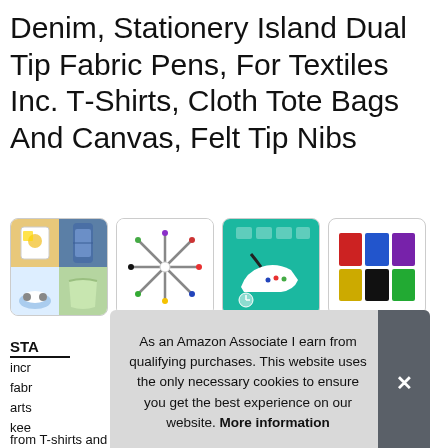Denim, Stationery Island Dual Tip Fabric Pens, For Textiles Inc. T-Shirts, Cloth Tote Bags And Canvas, Felt Tip Nibs
[Figure (photo): Four product image thumbnails in a row: (1) 2x2 collage of fabric items including t-shirt, jeans, shoes, tote bag; (2) multiple colorful fabric pens arranged in star pattern on white background; (3) teal/green background with sneaker and care icons showing draw/fix/wash/crazy steps; (4) color fabric swatches in red, blue, purple, yellow, black, green]
STA...
incr...
fabr...
arts...
kee...
from T-shirts and tote bags to caps and canvas shoes...
As an Amazon Associate I earn from qualifying purchases. This website uses the only necessary cookies to ensure you get the best experience on our website. More information